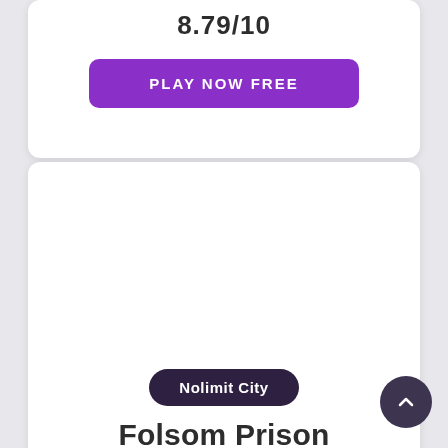8.79/10
PLAY NOW FREE
Nolimit City
Folsom Prison